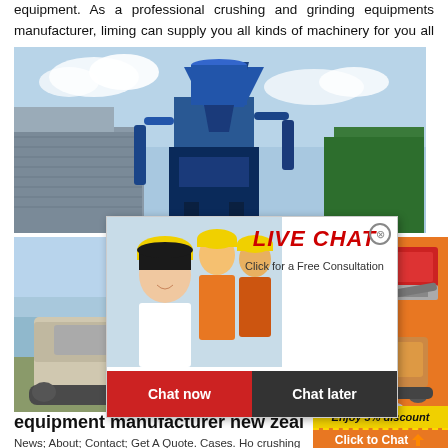equipment. As a professional crushing and grinding equipments manufacturer, liming can supply you all kinds of machinery for you all over the world. Sand
[Figure (photo): Industrial crushing/grinding equipment - large blue machinery with cyclone separator and pipes, outdoor industrial facility]
[Figure (screenshot): Live chat popup overlay with workers in yellow hard hats, LIVE CHAT heading in red, 'Click for a Free Consultation' text, Chat now and Chat later buttons]
[Figure (photo): Mobile crushing equipment / crawler-mounted mineral processing machine in outdoor setting]
[Figure (infographic): Orange sidebar advertisement showing two crushing/grinding machines with Enjoy 3% discount and Click to Chat buttons]
equipment manufacturer new zealand
News; About; Contact; Get A Quote. Cases. Ho crushing line. Stationary crushing line. Industrial gr